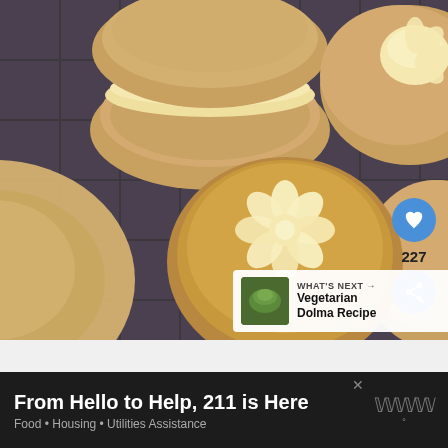[Figure (photo): Overhead photo of several round cookies/whoopie pies on a dark cooling rack. Some are sandwich cookies with cream filling, one has a flower-shaped piped cream frosting on top. The cookies are golden-brown. UI overlay shows a blue heart/like button and share button on the right side with '227' count. Bottom right shows a 'WHAT'S NEXT' card for 'Vegetarian Dolma Recipe'.]
WHAT'S NEXT → Vegetarian Dolma Recipe
From Hello to Help, 211 is Here
Food • Housing • Utilities Assistance